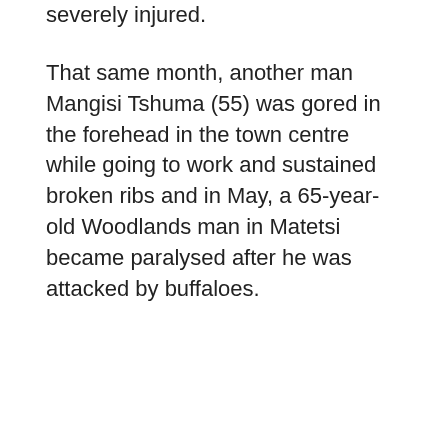severely injured.
That same month, another man Mangisi Tshuma (55) was gored in the forehead in the town centre while going to work and sustained broken ribs and in May, a 65-year-old Woodlands man in Matetsi became paralysed after he was attacked by buffaloes.